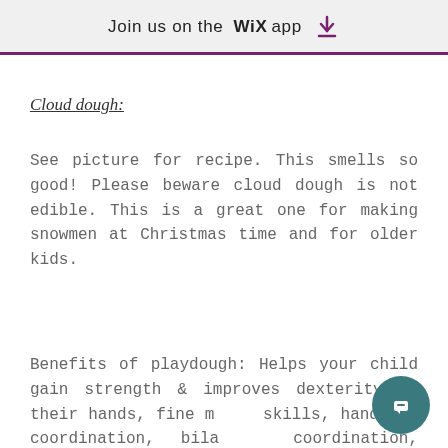Join us on the WiX app ⬇
Cloud dough:
See picture for recipe. This smells so good! Please beware cloud dough is not edible. This is a great one for making snowmen at Christmas time and for older kids.
Benefits of playdough: Helps your child gain strength & improves dexterity in their hands, fine m... skills, hand eye coordination, bila... coordination, its very calming activity,